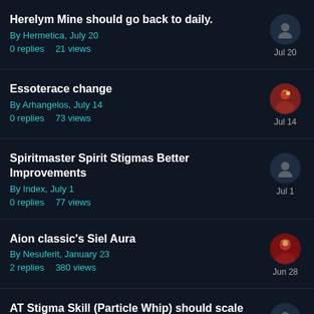Herelym Mine should go back to daily. By Hermetica, July 20. 0 replies 21 views. Jul 20
Essoterace change. By Arhangelos, July 14. 0 replies 73 views. Jul 14
Spiritmaster Spirit Stigmas Better Improvements. By Index, July 1. 0 replies 77 views. Jul 1
Aion classic's Siel Aura. By Nesuferit, January 23. 2 replies 380 views. Jun 28
AT Stigma Skill (Particle Whip) should scale like